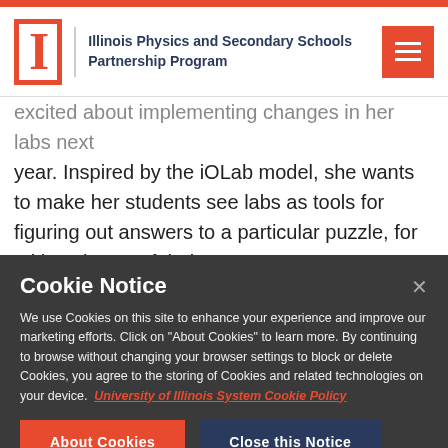[Figure (logo): Illinois Physics and Secondary Schools Partnership Program logo with block I and text]
...excited about implementing changes in her labs next year. Inspired by the iOLab model, she wants to make her students see labs as tools for figuring out answers to a particular puzzle, for taking charge of their own
Cookie Notice
We use Cookies on this site to enhance your experience and improve our marketing efforts. Click on “About Cookies” to learn more. By continuing to browse without changing your browser settings to block or delete Cookies, you agree to the storing of Cookies and related technologies on your device. University of Illinois System Cookie Policy